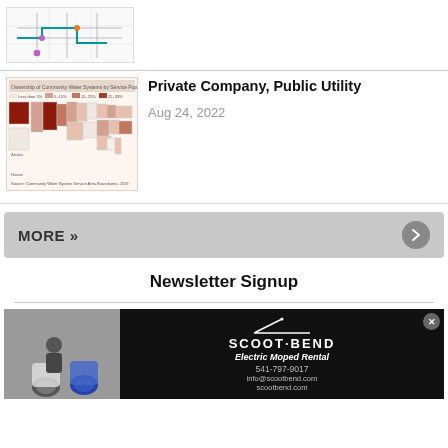[Figure (map): Street/transit map showing routes and points of interest]
[Figure (map): Choropleth map of USA showing ownership of community water systems by service population size with color legend]
Private Company, Public Utility
Aug 24, 2022
MORE »
Newsletter Signup
[Figure (photo): Scoot Bend advertisement showing electric mopeds and rental information: 541-797-9017, info@scootbend.com, scootbend.com]